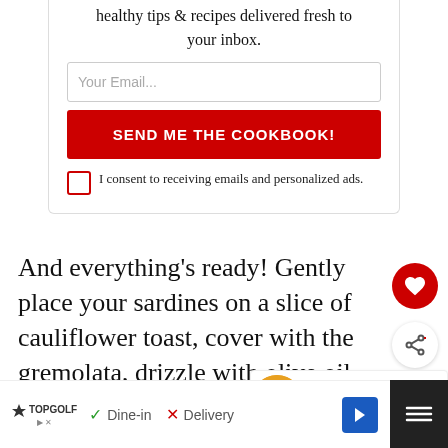healthy tips & recipes delivered fresh to your inbox.
Your Email...
SEND ME THE COOKBOOK!
I consent to receiving emails and personalized ads.
And everything's ready! Gently place your sardines on a slice of cauliflower toast, cover with the gremolata, drizzle with olive oil, and devour!
[Figure (infographic): WHAT'S NEXT arrow label with thumbnail image of cauliflower and carrot dish, linking to 'Cauliflower And Carrot...']
[Figure (infographic): Advertisement bar: Topgolf logo with Dine-in checkmark and Delivery X options, blue arrow navigation button, and dark right panel]